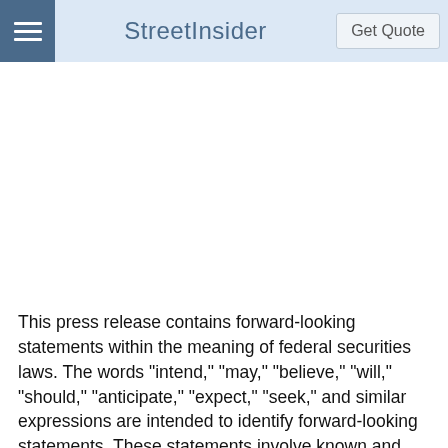StreetInsider | Get Quote
This press release contains forward-looking statements within the meaning of federal securities laws. The words "intend," "may," "believe," "will," "should," "anticipate," "expect," "seek," and similar expressions are intended to identify forward-looking statements. These statements involve known and unknown risks, which may cause the Company's actual results to differ materially from results expressed or implied by the forward-looking statements. These risks include such factors as the disruption to our business from the recent pandemic and its impact on